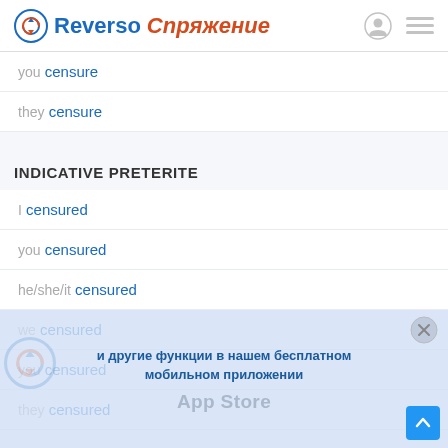Reverso Спряжение
you censure
they censure
INDICATIVE PRETERITE
I censured
you censured
he/she/it censured
we censured
you censured
they censured
и другие функции в нашем бесплатном мобильном приложении